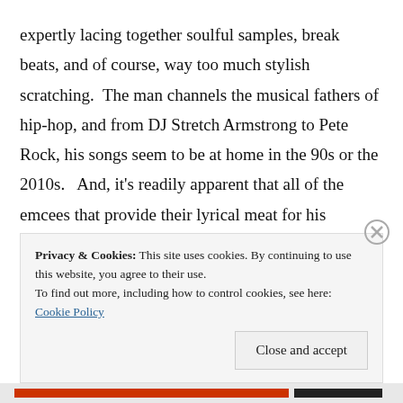expertly lacing together soulful samples, break beats, and of course, way too much stylish scratching.  The man channels the musical fathers of hip-hop, and from DJ Stretch Armstrong to Pete Rock, his songs seem to be at home in the 90s or the 2010s.   And, it's readily apparent that all of the emcees that provide their lyrical meat for his sample-laced bones are well aware.  From Your Old Droog to Action Bronson to Sean Price to Mick
Privacy & Cookies: This site uses cookies. By continuing to use this website, you agree to their use.
To find out more, including how to control cookies, see here: Cookie Policy
Close and accept